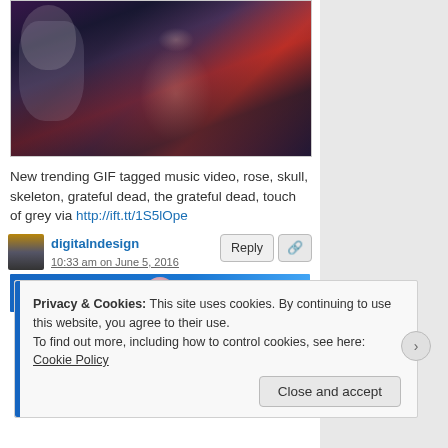[Figure (photo): A person wearing a dark shirt with 'KALX' text, white jacket, at what appears to be a concert or event with blue and red lighting. The image is a frame from an animated GIF.]
New trending GIF tagged music video, rose, skull, skeleton, grateful dead, the grateful dead, touch of grey via http://ift.tt/1S5lOpe
digitalndesign
10:33 am on June 5, 2016
[Figure (photo): Partial view of a blue-background image with a circular shape (person's head/avatar) visible at top.]
Privacy & Cookies: This site uses cookies. By continuing to use this website, you agree to their use.
To find out more, including how to control cookies, see here: Cookie Policy